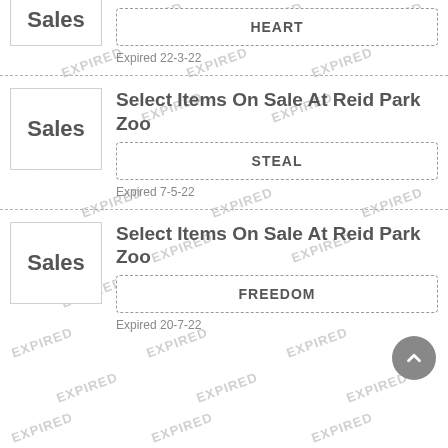Sales
HEART
Expired 22-3-22
Select Items On Sale At Reid Park Zoo
Sales
STEAL
Expired 7-5-22
Select Items On Sale At Reid Park Zoo
Sales
FREEDOM
Expired 20-7-22